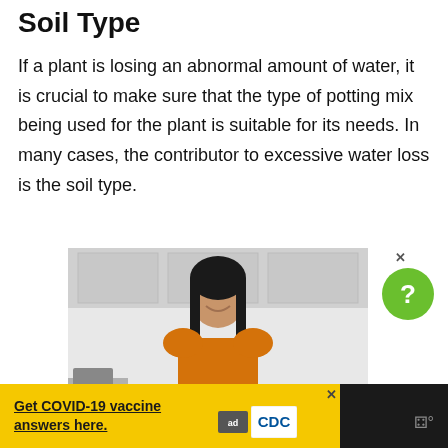Soil Type
If a plant is losing an abnormal amount of water, it is crucial to make sure that the type of potting mix being used for the plant is suitable for its needs. In many cases, the contributor to excessive water loss is the soil type.
[Figure (photo): Woman smiling in a kitchen, wearing an orange top, used as advertisement background image]
Get COVID-19 vaccine answers here.